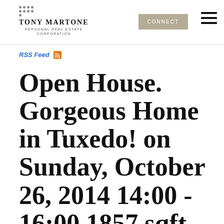TONY MARTONE PERSONAL REAL ESTATE CORPORATION
RSS Feed
Open House. Gorgeous Home in Tuxedo! on Sunday, October 26, 2014 14:00 - 16:00 1857 sqft bungalow style home in beautiful